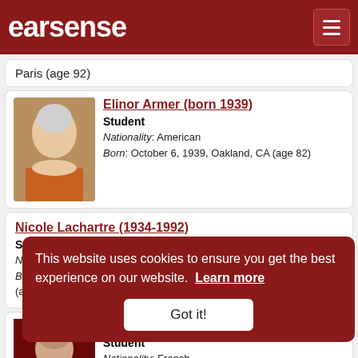earsense
Paris (age 92)
Elinor Armer (born 1939)
Student
Nationality: American
Born: October 6, 1939, Oakland, CA (age 82)
Nicole Lachartre (1934-1992)
Student
Nationality: French
Born: February 27, 1934, Paris - Died: January 25, 1992, Versailles (age 57)
Thérèse Brenet (born 1935)
Student
Nationality: French
Born: October 22, 1935, Paris (age 86)
André Gédalge (1856-1926)
Teacher
Nationality: French
Born: December 27, 1856, Paris - Died: February 5, 1926
This website uses cookies to ensure you get the best experience on our website. Learn more
Got it!